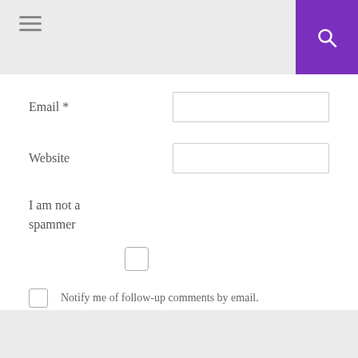Email *
Website
I am not a spammer
Notify me of follow-up comments by email.
Notify me of new posts by email.
POST COMMENT